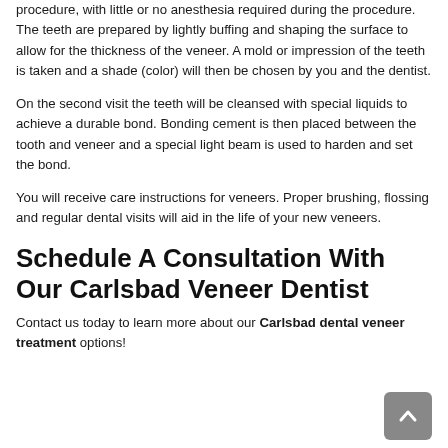procedure.  The teeth are prepared by lightly buffing and shaping the surface to allow for the thickness of the veneer.  A mold or impression of the teeth is taken and a shade (color) will then be chosen by you and the dentist.
On the second visit the teeth will be cleansed with special liquids to achieve a durable bond.  Bonding cement is then placed between the tooth and veneer and a special light beam is used to harden and set the bond.
You will receive care instructions for veneers.  Proper brushing, flossing and regular dental visits will aid in the life of your new veneers.
Schedule A Consultation With Our Carlsbad Veneer Dentist
Contact us today to learn more about our Carlsbad dental veneer treatment options!